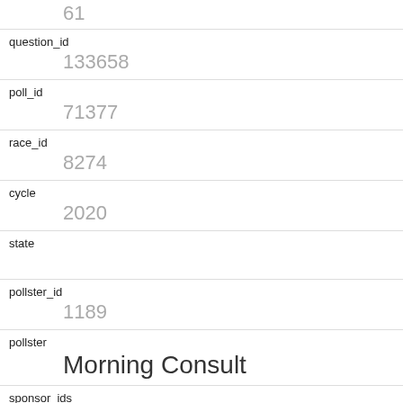61
question_id
133658
poll_id
71377
race_id
8274
cycle
2020
state
pollster_id
1189
pollster
Morning Consult
sponsor_ids
sponsors
partisan